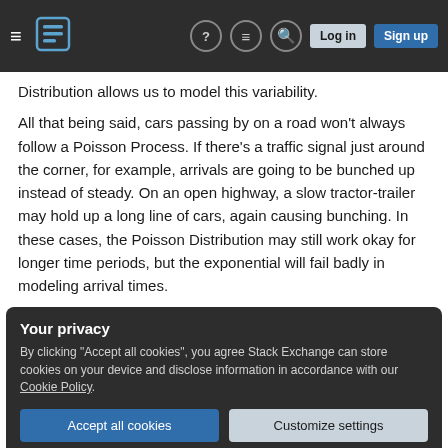Stack Exchange navigation bar with logo, help, chat, search, log in, and sign up buttons
Distribution allows us to model this variability.
All that being said, cars passing by on a road won't always follow a Poisson Process. If there's a traffic signal just around the corner, for example, arrivals are going to be bunched up instead of steady. On an open highway, a slow tractor-trailer may hold up a long line of cars, again causing bunching. In these cases, the Poisson Distribution may still work okay for longer time periods, but the exponential will fail badly in modeling arrival times.
Your privacy
By clicking "Accept all cookies", you agree Stack Exchange can store cookies on your device and disclose information in accordance with our Cookie Policy.